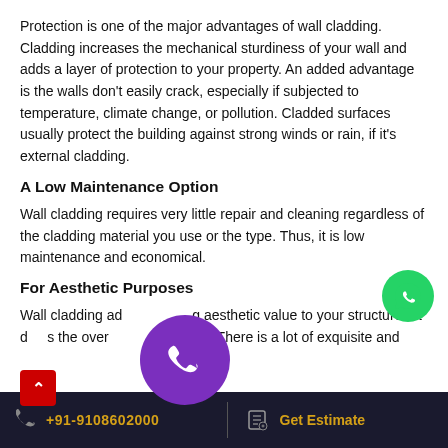Protection is one of the major advantages of wall cladding. Cladding increases the mechanical sturdiness of your wall and adds a layer of protection to your property. An added advantage is the walls don't easily crack, especially if subjected to temperature, climate change, or pollution. Cladded surfaces usually protect the building against strong winds or rain, if it's external cladding.
A Low Maintenance Option
Wall cladding requires very little repair and cleaning regardless of the cladding material you use or the type. Thus, it is low maintenance and economical.
For Aesthetic Purposes
Wall cladding ad aesthetic value to your structure. It d s the over our place. There is a lot of exquisite and
[Figure (other): WhatsApp contact button - green circle with WhatsApp logo]
[Figure (other): Purple phone call button circle overlay]
[Figure (other): Red scroll-to-top button with up arrow]
+91-9108602000  Get Estimate